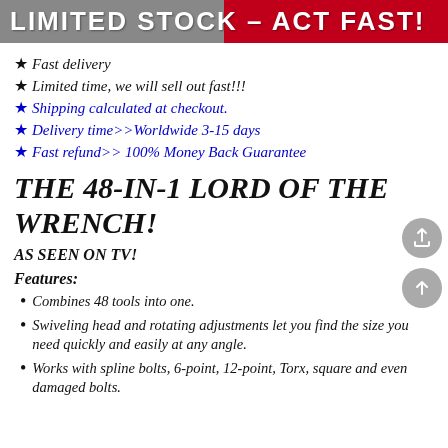LIMITED STOCK – ACT FAST!
★ Fast delivery
★ Limited time, we will sell out fast!!!
★Shipping calculated at checkout.
★Delivery time>>Worldwide 3-15 days
★Fast refund>> 100% Money Back Guarantee
THE 48-IN-1 LORD OF THE WRENCH!
AS SEEN ON TV!
Features:
Combines 48 tools into one.
Swiveling head and rotating adjustments let you find the size you need quickly and easily at any angle.
Works with spline bolts, 6-point, 12-point, Torx, square and even damaged bolts.